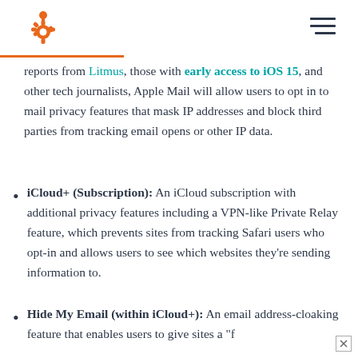HubSpot logo and hamburger menu
reports from Litmus, those with early access to iOS 15, and other tech journalists, Apple Mail will allow users to opt in to mail privacy features that mask IP addresses and block third parties from tracking email opens or other IP data.
iCloud+ (Subscription): An iCloud subscription with additional privacy features including a VPN-like Private Relay feature, which prevents sites from tracking Safari users who opt-in and allows users to see which websites they're sending information to.
Hide My Email (within iCloud+): An email address-cloaking feature that enables users to give sites a "f